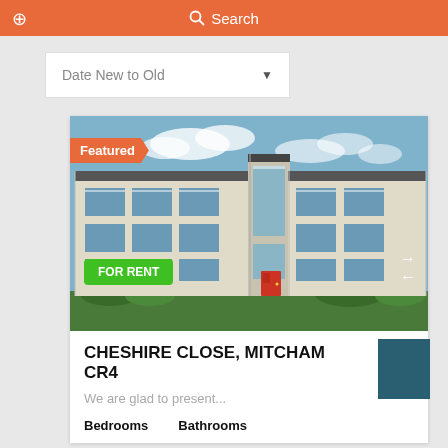Search
Date New to Old
[Figure (photo): Exterior photo of a modern multi-storey residential building with large windows, beige/cream facade, red entrance door, and surrounding greenery under a blue sky.]
Featured
FOR RENT
CHESHIRE CLOSE, MITCHAM CR4
We are glad to present...
Bedrooms    Bathrooms